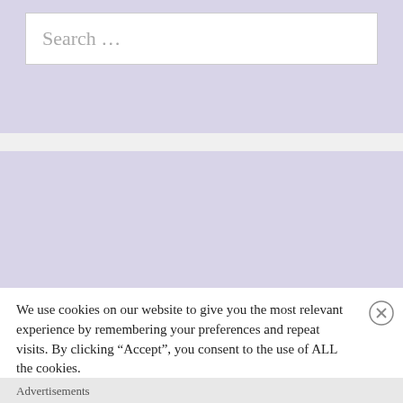Search …
Enter your email address to follow this site and receive notifications of new posts by email.
We use cookies on our website to give you the most relevant experience by remembering your preferences and repeat visits. By clicking “Accept”, you consent to the use of ALL the cookies.
Do not sell my personal information
Advertisements